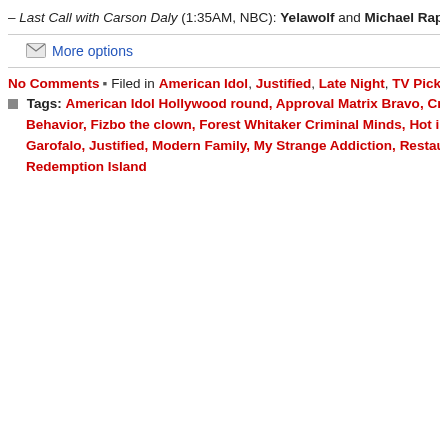– Last Call with Carson Daly (1:35AM, NBC): Yelawolf and Michael Rapap
More options
No Comments ▪ Filed in American Idol, Justified, Late Night, TV Picks
Tags: American Idol Hollywood round, Approval Matrix Bravo, Crimi… Behavior, Fizbo the clown, Forest Whitaker Criminal Minds, Hot in Cl… Garofalo, Justified, Modern Family, My Strange Addiction, Restauran… Redemption Island